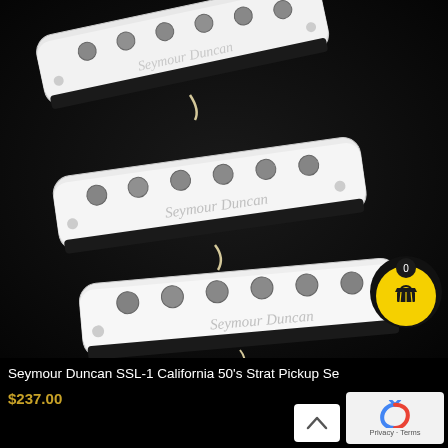[Figure (photo): Three Seymour Duncan SSL-1 California 50's Strat guitar pickups with white covers and exposed pole pieces, arranged diagonally on a dark background. A yellow shopping cart button with a '0' badge is visible in the lower right of the image.]
Seymour Duncan SSL-1 California 50's Strat Pickup Se
$237.00